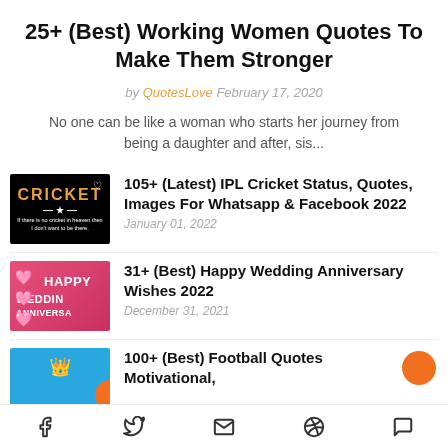25+ (Best) Working Women Quotes To Make Them Stronger
by QuotesLove February 17, 2020
No one can be like a woman who starts her journey from being a daughter and after, sis...
[Figure (photo): Black thumbnail with orange CRICKET text and white heart icon]
105+ (Latest) IPL Cricket Status, Quotes, Images For Whatsapp & Facebook 2022
January 01, 2022
[Figure (photo): Pink/red thumbnail with HAPPY WEDDING ANNIVERSARY text and heart balloons]
31+ (Best) Happy Wedding Anniversary Wishes 2022
December 31, 2021
[Figure (photo): Blue thumbnail with crown emoji and orange ball for football quotes]
100+ (Best) Football Quotes Motivational,
f  Twitter  Email  Pinterest  WhatsApp